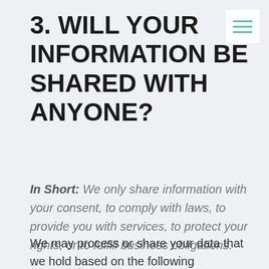3. WILL YOUR INFORMATION BE SHARED WITH ANYONE?
[Figure (other): Hamburger menu icon with three teal horizontal lines on white background]
In Short:  We only share information with your consent, to comply with laws, to provide you with services, to protect your rights, or to fulfill business obligations.
We may process or share your data that we hold based on the following